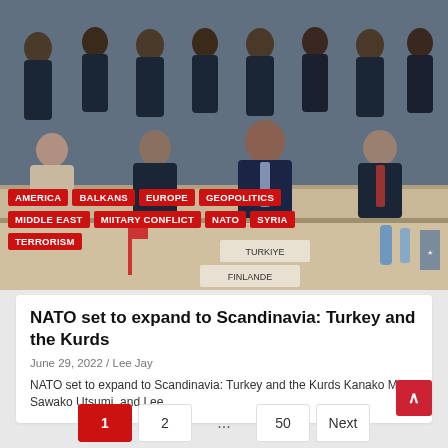[Figure (photo): Group photo of officials seated and standing at a NATO meeting table, with nameplates for TURKIYE and FINLANDE visible in front.]
AMERICA
BALKANS
EUROPE
GEOPOLITICS
MIDDLE EAST
MIITARY CONFLICT
NATO
SYRIA
TERRORISM
NATO set to expand to Scandinavia: Turkey and the Kurds
June 29, 2022 / Lee Jay
NATO set to expand to Scandinavia: Turkey and the Kurds Kanako Mita, Sawako Utsumi, and Lee…
1  2  ...  50  Next